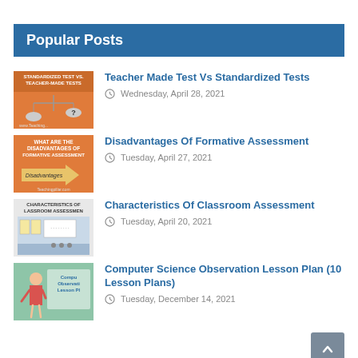Popular Posts
[Figure (screenshot): Thumbnail for 'Teacher Made Test Vs Standardized Tests' article — orange background with scale/balance illustration and question mark]
Teacher Made Test Vs Standardized Tests
Wednesday, April 28, 2021
[Figure (screenshot): Thumbnail for 'Disadvantages Of Formative Assessment' — orange background with arrow showing 'Disadvantages' text]
Disadvantages Of Formative Assessment
Tuesday, April 27, 2021
[Figure (screenshot): Thumbnail for 'Characteristics Of Classroom Assessment' — classroom interior image]
Characteristics Of Classroom Assessment
Tuesday, April 20, 2021
[Figure (screenshot): Thumbnail for 'Computer Science Observation Lesson Plan (10 Lesson Plans)' — woman in red dress illustration]
Computer Science Observation Lesson Plan (10 Lesson Plans)
Tuesday, December 14, 2021